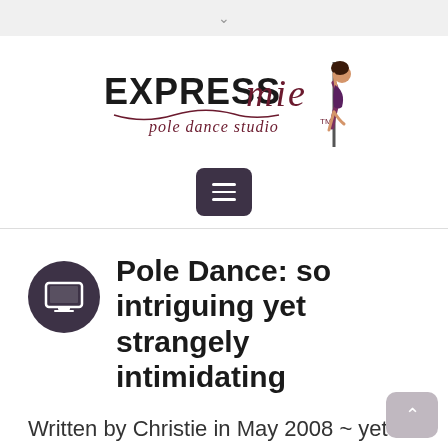↓
[Figure (logo): EXPRESS mie pole dance studio logo with illustrated dancer on a pole]
[Figure (other): Hamburger menu button (dark purple rounded square with three white lines)]
Pole Dance: so intriguing yet strangely intimidating
Written by Christie in May 2008 ~ yet still a current message...